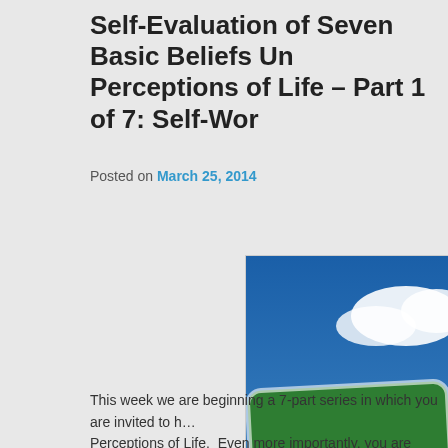Self-Evaluation of Seven Basic Beliefs Underlying Perceptions of Life – Part 1 of 7: Self-Wor…
Posted on March 25, 2014
[Figure (photo): A green street sign reading 'Self-W…' against a blue sky with clouds, mounted on a wooden post. Partially cropped on the right.]
— © Andy Dean Photography/shutte…
This week we are beginning a 7-part series in which you are invited to h… Perceptions of Life.  Even more importantly, you are offered the opport…